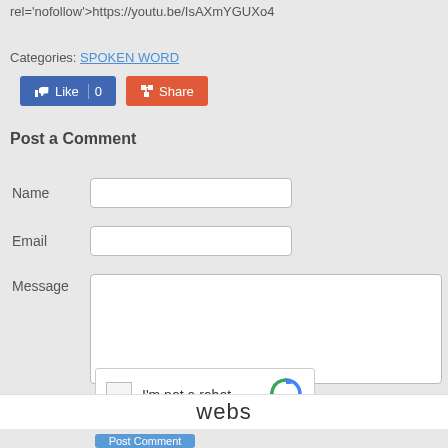rel='nofollow'>https://youtu.be/IsAXmYGUXo4
Categories: SPOKEN WORD
[Figure (screenshot): Facebook Like and Share buttons]
Post a Comment
[Figure (screenshot): Comment form with Name, Email, Message fields and reCAPTCHA]
webs